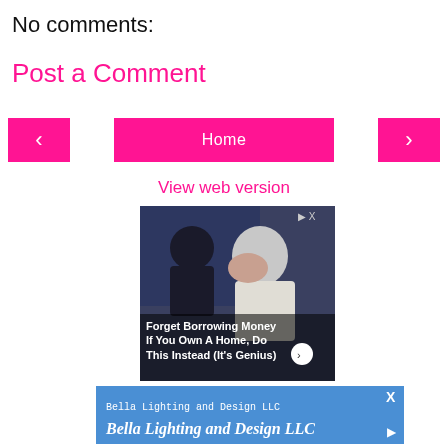No comments:
Post a Comment
< (previous button)
Home
> (next button)
View web version
[Figure (photo): Advertisement photo showing two men, with overlaid text 'Forget Borrowing Money If You Own A Home, Do This Instead (It's Genius)']
[Figure (photo): Advertisement banner with blue background reading 'Bella Lighting and Design LLC / Bella Lighting and Design LLC']